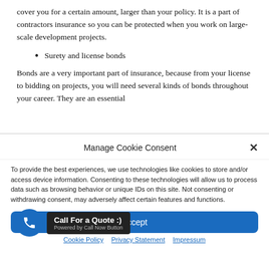cover you for a certain amount, larger than your policy. It is a part of contractors insurance so you can be protected when you work on large-scale development projects.
Surety and license bonds
Bonds are a very important part of insurance, because from your license to bidding on projects, you will need several kinds of bonds throughout your career. They are an essential
Manage Cookie Consent
To provide the best experiences, we use technologies like cookies to store and/or access device information. Consenting to these technologies will allow us to process data such as browsing behavior or unique IDs on this site. Not consenting or withdrawing consent, may adversely affect certain features and functions.
Accept
Call For a Quote :)
Powered by Call Now Button
Cookie Policy   Privacy Statement   Impressum